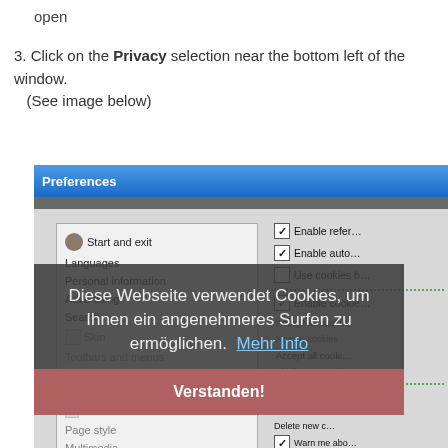open
3. Click on the Privacy selection near the bottom left of the window. (See image below)
[Figure (screenshot): Screenshot of a browser Preferences dialog showing a navigation list on the left (Start and exit, Languages, Personal information, Advertising, Search, Skin, Toolbars and menus, Windows, Sounds, Fonts, Page style, Multimedia, Programs and pages, E-mail, File types, Default application, Network) with checkboxes for Enable referrer, Enable auto, Use cookies on the right. A dark semi-transparent cookie consent overlay in German reads 'Diese Webseite verwendet Cookies, um Ihnen ein angenehmeres Surfen zu ermöglichen. Mehr Info' with a pink/red 'Verstanden!' button at the bottom.]